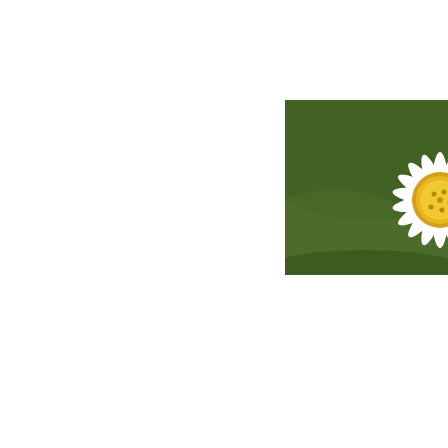[Figure (photo): Close-up photograph of an Oxeye Daisy flower with white petals and yellow center against a green background]
§  Greater Ki...
   Centau...
§  Musk Mall...
   Malva
§  Dark Mull...
   Verbasco
§  Oxeye Dais...
   Leuca...
§  Ribwort Pl...
   Planta...
§  Field Scab...
   Knautia
§  Selfheal
   Prunell...
§  Perforated...
   Hyperic...
§  Kidney Ve...
   Anthyl...
§  Tufted Vet...
   Vicia c...
§  Yarrow
   Achi...